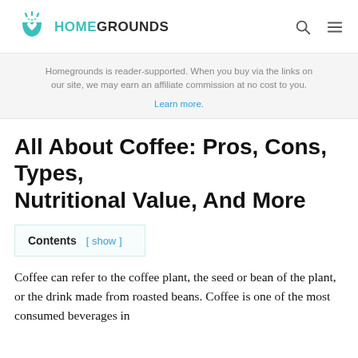HOMEGROUNDS
Homegrounds is reader-supported. When you buy via the links on our site, we may earn an affiliate commission at no cost to you. Learn more.
All About Coffee: Pros, Cons, Types, Nutritional Value, And More
Contents [ show ]
Coffee can refer to the coffee plant, the seed or bean of the plant, or the drink made from roasted beans. Coffee is one of the most consumed beverages in